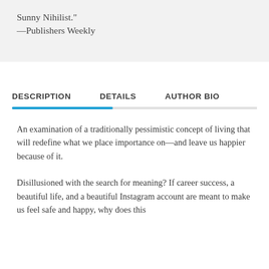Sunny Nihilist."
—Publishers Weekly
DESCRIPTION    DETAILS    AUTHOR BIO
An examination of a traditionally pessimistic concept of living that will redefine what we place importance on—and leave us happier because of it.
Disillusioned with the search for meaning? If career success, a beautiful life, and a beautiful Instagram account are meant to make us feel safe and happy, why does this